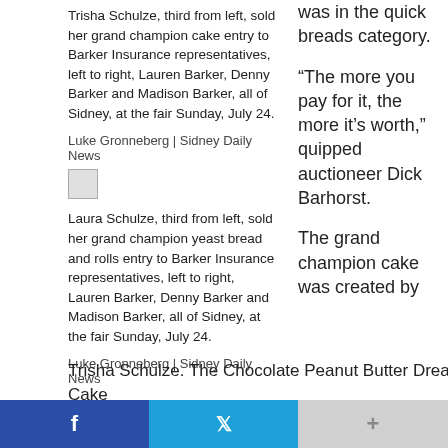Trisha Schulze, third from left, sold her grand champion cake entry to Barker Insurance representatives, left to right, Lauren Barker, Denny Barker and Madison Barker, all of Sidney, at the fair Sunday, July 24.
was in the quick breads category.
“The more you pay for it, the more it’s worth,” quipped auctioneer Dick Barhorst.
Luke Gronneberg | Sidney Daily News
[Figure (photo): Broken image placeholder thumbnail]
Laura Schulze, third from left, sold her grand champion yeast bread and rolls entry to Barker Insurance representatives, left to right, Lauren Barker, Denny Barker and Madison Barker, all of Sidney, at the fair Sunday, July 24.
The grand champion cake was created by
Luke Gronneberg | Sidney Daily News
Trisha Schulze. The Chocolate Peanut Butter Dream Cake